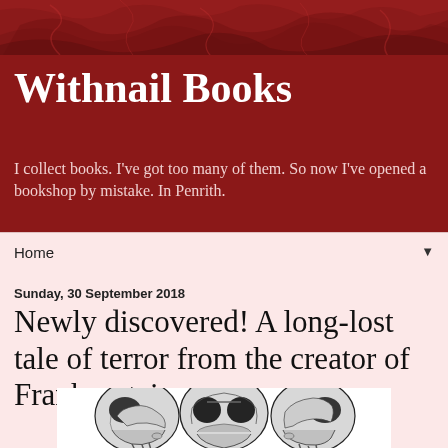[Figure (illustration): Reddish organic textured background banner at top of page]
Withnail Books
I collect books. I've got too many of them. So now I've opened a bookshop by mistake. In Penrith.
Home ▼
Sunday, 30 September 2018
Newly discovered! A long-lost tale of terror from the creator of Frankenstein.
[Figure (illustration): Three skulls illustration in black and white engraving style, arranged side by side facing different directions]